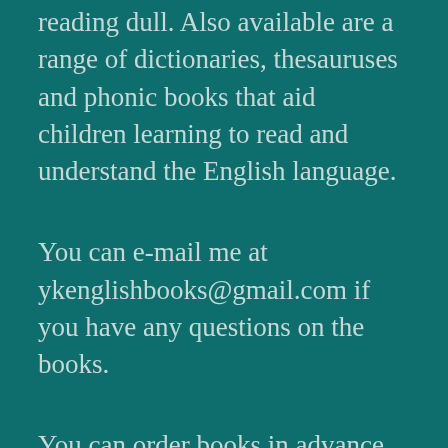reading dull. Also available are a range of dictionaries, thesauruses and phonic books that aid children learning to read and understand the English language.
You can e-mail me at ykenglishbooks@gmail.com if you have any questions on the books.
You can order books in advance. Click on this link to make your choice:  http://org.usbornebooksathome.co.uk/ykenglishbooks/ BUT DO NOT PLACE